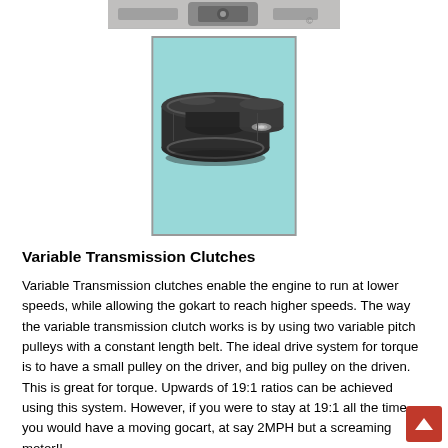[Figure (photo): Partial top image showing mechanical hardware/bolt, cropped at top of page]
[Figure (photo): A variable transmission clutch pulley component — a dark metal double-flanged pulley/sheave with a central bearing, photographed against a light blue background]
Variable Transmission Clutches
Variable Transmission clutches enable the engine to run at lower speeds, while allowing the gokart to reach higher speeds. The way the variable transmission clutch works is by using two variable pitch pulleys with a constant length belt. The ideal drive system for torque is to have a small pulley on the driver, and big pulley on the driven. This is great for torque. Upwards of 19:1 ratios can be achieved using this system. However, if you were to stay at 19:1 all the time, you would have a moving gocart, at say 2MPH but a screaming motor!!